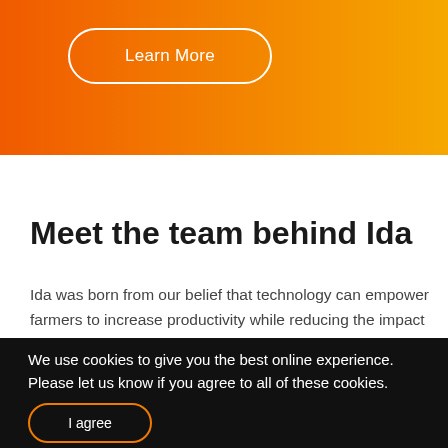[Figure (other): Orange gradient banner background spanning the top of the page]
Learn More
Meet the team behind Ida
Ida was born from our belief that technology can empower farmers to increase productivity while reducing the impact on the planet. Our team is a mix of dairy and tech industry veterans from 19 different countries. Together we bring the spirit of Silicon Valley into farmers' fields. We are continual innovators who
We use cookies to give you the best online experience. Please let us know if you agree to all of these cookies.
I agree